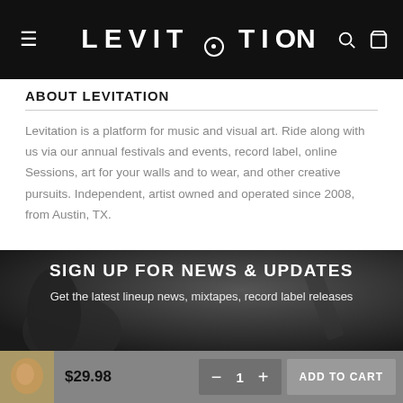LEVITATION
ABOUT LEVITATION
Levitation is a platform for music and visual art. Ride along with us via our annual festivals and events, record label, online Sessions, art for your walls and to wear, and other creative pursuits. Independent, artist owned and operated since 2008, from Austin, TX.
[Figure (photo): Dark background photo of a person playing guitar, used as backdrop for newsletter signup section]
SIGN UP FOR NEWS & UPDATES
Get the latest lineup news, mixtapes, record label releases
$29.98  −  1  +  ADD TO CART